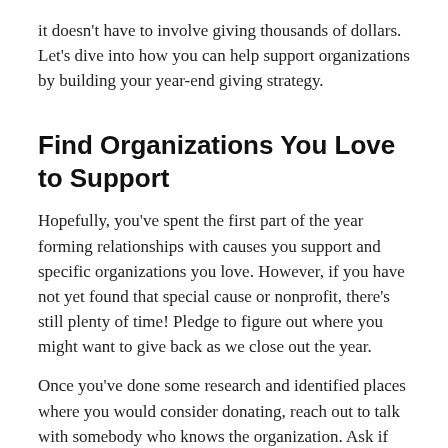it doesn't have to involve giving thousands of dollars. Let's dive into how you can help support organizations by building your year-end giving strategy.
Find Organizations You Love to Support
Hopefully, you've spent the first part of the year forming relationships with causes you support and specific organizations you love. However, if you have not yet found that special cause or nonprofit, there's still plenty of time! Pledge to figure out where you might want to give back as we close out the year.
Once you've done some research and identified places where you would consider donating, reach out to talk with somebody who knows the organization. Ask if